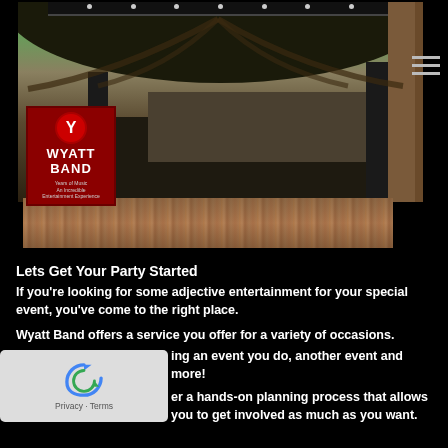[Figure (photo): Outdoor concert stage with wooden roof/pavilion structure, stage equipment, speaker towers, and a crowd of people in the lower strip. Wyatt Band logo overlay on the left side of the stage photo.]
Lets Get Your Party Started
If you're looking for some adjective entertainment for your special event, you've come to the right place.
Wyatt Band offers a service you offer for a variety of occasions.
Including an event you do, another event and more!
er a hands-on planning process that allows you to get involved as much as you want.